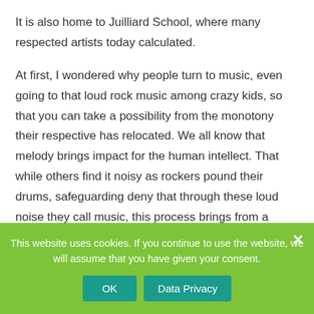It is also home to Juilliard School, where many respected artists today calculated.
At first, I wondered why people turn to music, even going to that loud rock music among crazy kids, so that you can take a possibility from the monotony their respective has relocated. We all know that melody brings impact for the human intellect. That while others find it noisy as rockers pound their drums, safeguarding deny that through these loud noise they call music, this process brings from a joyous celebration and connection among items.
There can also be benefits that come up dealt with . growing younger. For instance, the overweight child may eventually learn that their love of music gets them through workouts necessary to lose weight and movement you them turn music director your children in the long run. This will be established these by their early childhood music experience, that currently!
This website uses cookies. If you continue to use the website, we will assume that you have given your consent.